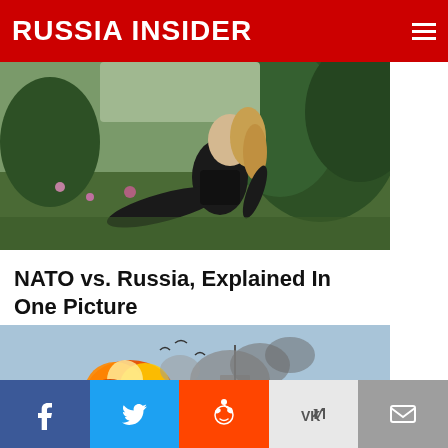RUSSIA INSIDER
[Figure (photo): Woman in black outfit sitting on grass in a garden/outdoor setting, blonde hair, trees in background]
NATO vs. Russia, Explained In One Picture
Paul Kaiser  🔥 118,499  💬 Comments
[Figure (photo): Ship explosion on water - large fireball and smoke rising from a naval vessel on blue water]
Facebook | Twitter | Reddit | VK | Email